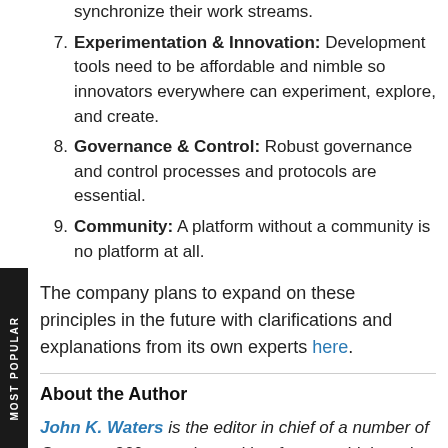synchronize their work streams.
Experimentation & Innovation: Development tools need to be affordable and nimble so innovators everywhere can experiment, explore, and create.
Governance & Control: Robust governance and control processes and protocols are essential.
Community: A platform without a community is no platform at all.
The company plans to expand on these principles in the future with clarifications and explanations from its own experts here.
About the Author
John K. Waters is the editor in chief of a number of Converge360.com sites, with a focus on high-end